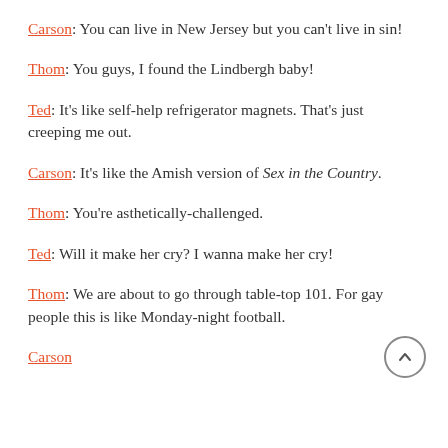Carson: You can live in New Jersey but you can't live in sin!
Thom: You guys, I found the Lindbergh baby!
Ted: It's like self-help refrigerator magnets. That's just creeping me out.
Carson: It's like the Amish version of Sex in the Country.
Thom: You're asthetically-challenged.
Ted: Will it make her cry? I wanna make her cry!
Thom: We are about to go through table-top 101. For gay people this is like Monday-night football.
Carson: You know what I always say and I think that...